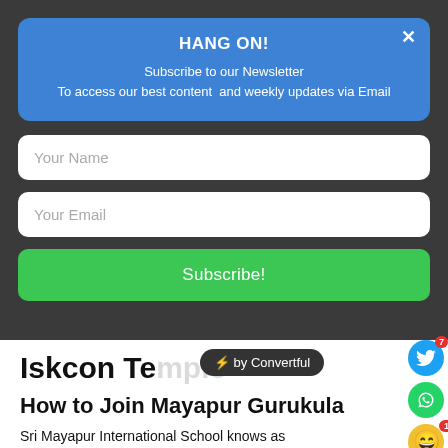HANG ON!
Subscribe to our Newsletter
To access our best content and weekly updates via Email
Your Name
Your Email
Subscribe!
Iskcon Temple
How to Join Mayapur Gurukula
Sri Mayapur International School knows as Mayapur Gurukula. However, the Vaishnava